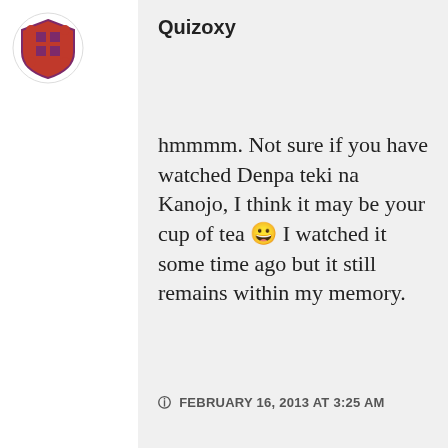[Figure (logo): Circular avatar/logo with a red and purple shield/crest design on white background]
Quizoxy
hmmmm. Not sure if you have watched Denpa teki na Kanojo, I think it may be your cup of tea 😀 I watched it some time ago but it still remains within my memory.
FEBRUARY 16, 2013 AT 3:25 AM